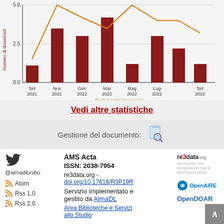[Figure (bar-chart): Andamento temporale]
Vedi altre statistiche
Gestione del documento:
AMS Acta
ISSN: 2038-7954
re3data.org - doi.org/10.17616/R3P19R
Servizio implementato e gestito da AlmaDL
Area Biblioteche e Servizi allo Studio
@almadlunibo
Atom
Rss 1.0
Rss 2.0